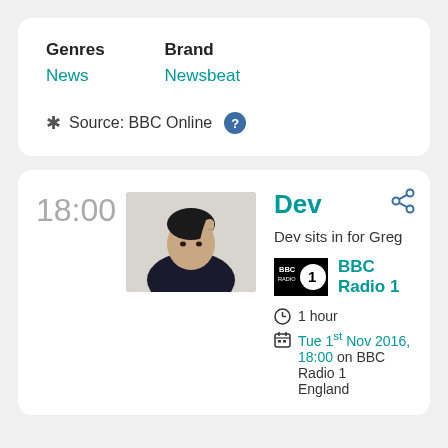Genres: News | Brand: Newsbeat
Source: BBC Online
18:00
[Figure (photo): Photo of Dev, a young man in a dark t-shirt with tattoos, resting his head on his hand]
Dev
Dev sits in for Greg
[Figure (logo): BBC Radio 1 logo - black square with BBC and Radio 1 text]
BBC Radio 1
1 hour
Tue 1st Nov 2016, 18:00 on BBC Radio 1 England